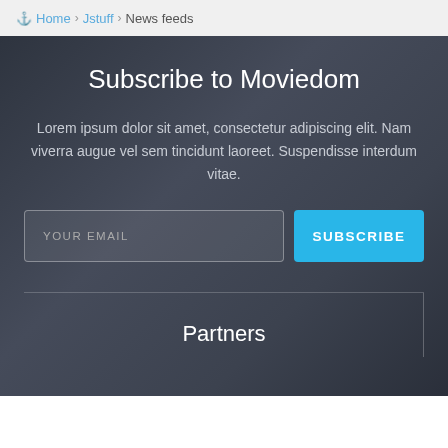Home > Jstuff > News feeds
Subscribe to Moviedom
Lorem ipsum dolor sit amet, consectetur adipiscing elit. Nam viverra augue vel sem tincidunt laoreet. Suspendisse interdum vitae.
YOUR EMAIL | SUBSCRIBE
Partners